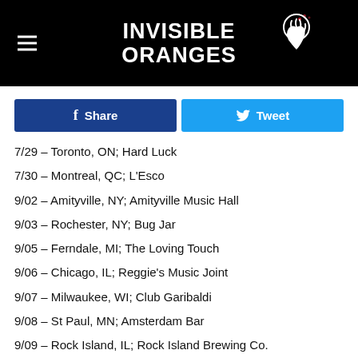INVISIBLE ORANGES
[Figure (logo): Invisible Oranges logo with white text and hand/orange icon on black background]
Share | Tweet (social media buttons)
7/29 – Toronto, ON; Hard Luck
7/30 – Montreal, QC; L'Esco
9/02 – Amityville, NY; Amityville Music Hall
9/03 – Rochester, NY; Bug Jar
9/05 – Ferndale, MI; The Loving Touch
9/06 – Chicago, IL; Reggie's Music Joint
9/07 – Milwaukee, WI; Club Garibaldi
9/08 – St Paul, MN; Amsterdam Bar
9/09 – Rock Island, IL; Rock Island Brewing Co.
9/10 – St Louis, MO; Fubar
9/11 –
9/14 –